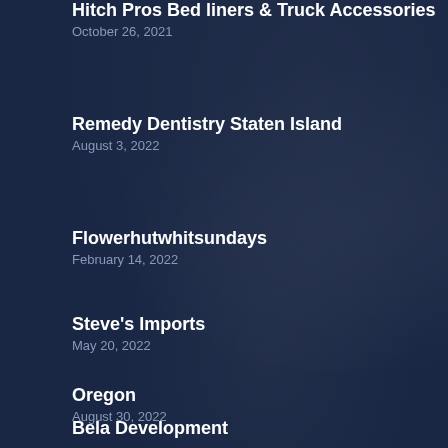Hitch Pros Bed liners & Truck Accessories
October 26, 2021
Remedy Dentistry Staten Island
August 3, 2022
Flowerhutwhitsundays
February 14, 2022
Steve's Imports
May 20, 2022
Oregon
August 30, 2022
Bela Development